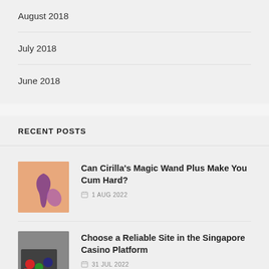August 2018
July 2018
June 2018
RECENT POSTS
Can Cirilla's Magic Wand Plus Make You Cum Hard?
1 AUG 2022
Choose a Reliable Site in the Singapore Casino Platform
31 JUL 2022